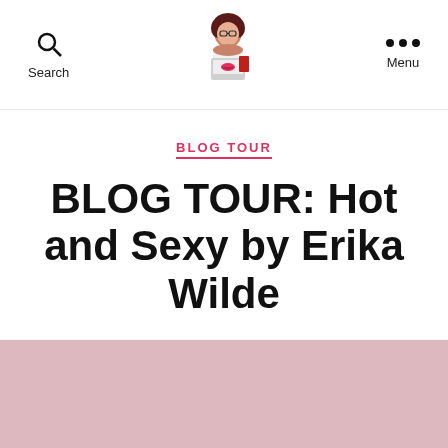Search | [Logo illustration] | Menu
BLOG TOUR
BLOG TOUR: Hot and Sexy by Erika Wilde
By Jodi   June 1, 2020   No Comments
[Figure (illustration): Pink decorative block at page bottom]